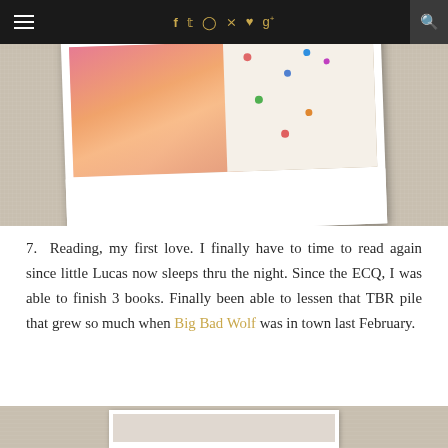Navigation bar with hamburger menu, social icons (f, t, instagram, pinterest, heart, g+), and search
[Figure (photo): A polaroid-style photo on a linen/burlap background showing colorful children's clothing or fabric items in pink, orange, and dotted patterns]
7. Reading, my first love. I finally have to time to read again since little Lucas now sleeps thru the night. Since the ECQ, I was able to finish 3 books. Finally been able to lessen that TBR pile that grew so much when Big Bad Wolf was in town last February.
[Figure (photo): Bottom edge of another photo, partially visible at the bottom of the page, showing a similar linen/burlap background]